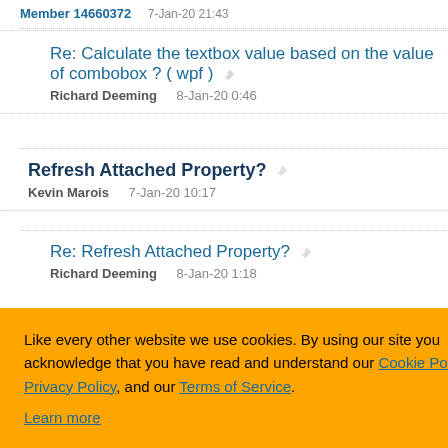Member 14660372   7-Jan-20 21:43
Re: Calculate the textbox value based on the value of combobox ? ( wpf )  Richard Deeming  8-Jan-20 0:46
Refresh Attached Property?  Kevin Marois  7-Jan-20 10:17
Re: Refresh Attached Property?  Richard Deeming  8-Jan-20 1:18
Like every other website we use cookies. By using our site you acknowledge that you have read and understand our Cookie Policy, Privacy Policy, and our Terms of Service. Learn more
Ask me later  Decline  Allow cookies
19  20  Next ▷